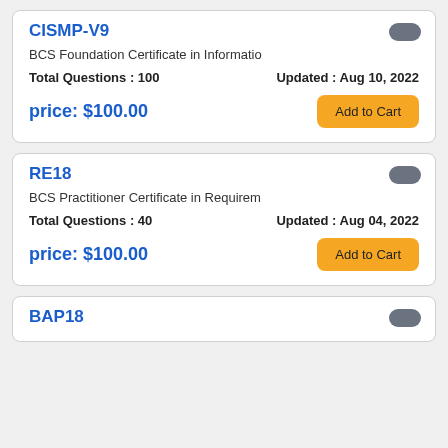CISMP-V9
BCS Foundation Certificate in Informatio
Total Questions : 100    Updated : Aug 10, 2022
price: $100.00
RE18
BCS Practitioner Certificate in Requirem
Total Questions : 40    Updated : Aug 04, 2022
price: $100.00
BAP18